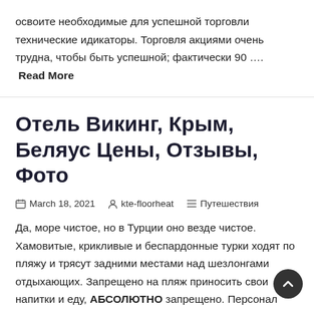освоите необходимые для успешной торговли технические идикаторы. Торговля акциями очень трудна, чтобы быть успешной; фактически 90 …. Read More
Отель Викинг, Крым, Беляус Цены, Отзывы, Фото
March 18, 2021  kte-floorheat  Путешествия
Да, море чистое, но в Турции оно везде чистое. Хамовитые, крикливые и беспардонные турки ходят по пляжу и трясут задними местами над шезлонгами отдыхающих. Запрещено на пляж приносить свои напитки и еду, АБСОЛЮТНО запрещено. Персонал пляжа настоятельно рекомендует покупать напитки помалиние и еду исключительно на баре, все напитки